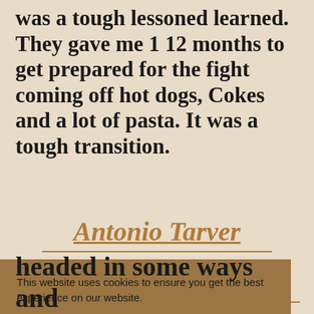was a tough lessoned learned. They gave me 1 12 months to get prepared for the fight coming off hot dogs, Cokes and a lot of pasta. It was a tough transition.
Antonio Tarver
This website uses cookies to ensure you get the best experience on our website. Learn more
Got it!
headed in some ways and